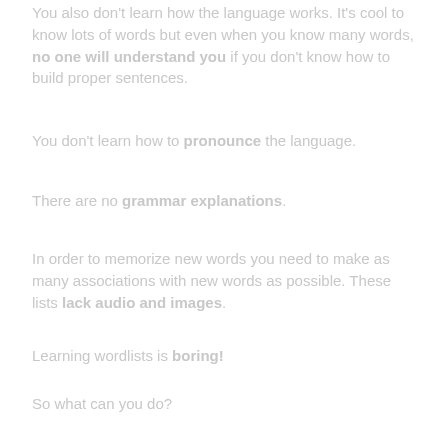You also don't learn how the language works. It's cool to know lots of words but even when you know many words, no one will understand you if you don't know how to build proper sentences.
You don't learn how to pronounce the language.
There are no grammar explanations.
In order to memorize new words you need to make as many associations with new words as possible. These lists lack audio and images.
Learning wordlists is boring!
So what can you do?